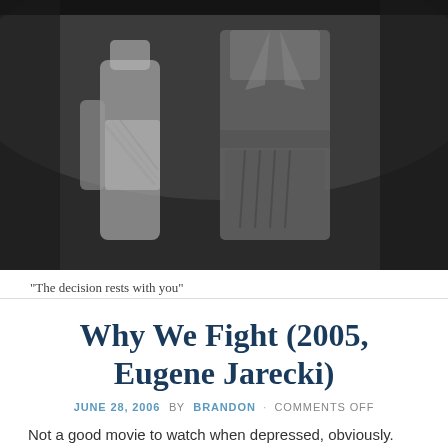[Figure (photo): Black and white photograph showing figures from a film, partially visible torsos and legs in dramatic lighting]
“The decision rests with you”
Why We Fight (2005, Eugene Jarecki)
JUNE 28, 2006 BY BRANDON · COMMENTS OFF
Not a good movie to watch when depressed, obviously. Patiently explains why the Iraq war and all the other countries we’ve had military dealings with since WWII